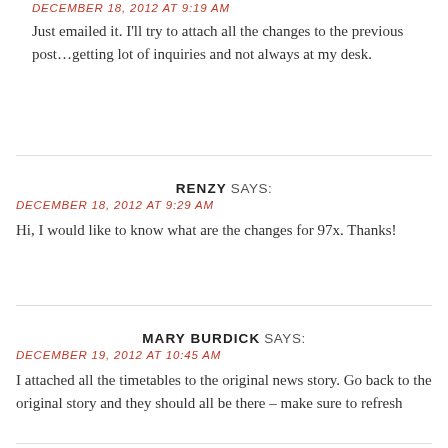DECEMBER 18, 2012 AT 9:19 AM
Just emailed it. I'll try to attach all the changes to the previous post…getting lot of inquiries and not always at my desk.
RENZY SAYS:
DECEMBER 18, 2012 AT 9:29 AM
Hi, I would like to know what are the changes for 97x. Thanks!
MARY BURDICK SAYS:
DECEMBER 19, 2012 AT 10:45 AM
I attached all the timetables to the original news story. Go back to the original story and they should all be there – make sure to refresh